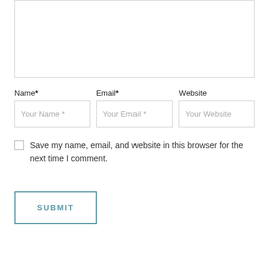[Figure (screenshot): Partial comment form textarea box at the top of the page]
Name*
Email*
Website
Your Name *
Your Email *
Your Website
Save my name, email, and website in this browser for the next time I comment.
SUBMIT